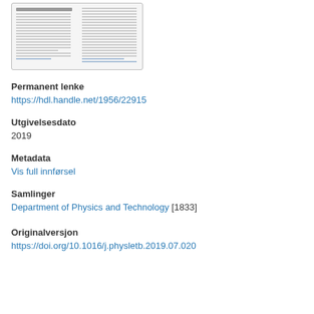[Figure (screenshot): Thumbnail preview of a scientific document/paper page showing two-column text layout]
Permanent lenke
https://hdl.handle.net/1956/22915
Utgivelsesdato
2019
Metadata
Vis full innførsel
Samlinger
Department of Physics and Technology [1833]
Originalversjon
https://doi.org/10.1016/j.physletb.2019.07.020